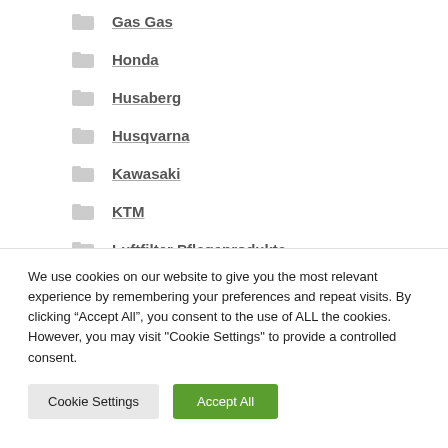Gas Gas
Honda
Husaberg
Husqvarna
Kawasaki
KTM
Luftfilter Pflegeprodukte
Maico/Bultaco/CCM/ Sonstige
We use cookies on our website to give you the most relevant experience by remembering your preferences and repeat visits. By clicking “Accept All”, you consent to the use of ALL the cookies. However, you may visit "Cookie Settings" to provide a controlled consent.